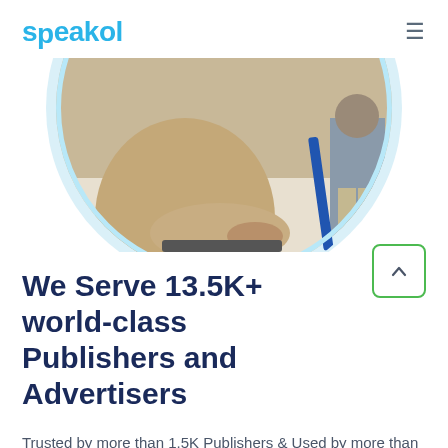speakol
[Figure (photo): Circular cropped photo of a person sitting at a desk typing on a laptop keyboard, with another person standing in the background. The image has a light blue circular border/frame.]
We Serve 13.5K+ world-class Publishers and Advertisers
Trusted by more than 1.5K Publishers & Used by more than 12K of the GCC and MENA Region's Leading